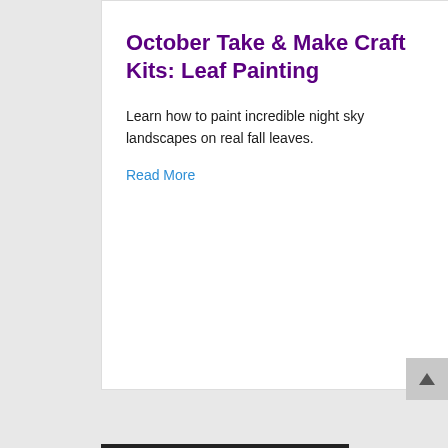October Take & Make Craft Kits: Leaf Painting
Learn how to paint incredible night sky landscapes on real fall leaves.
Read More